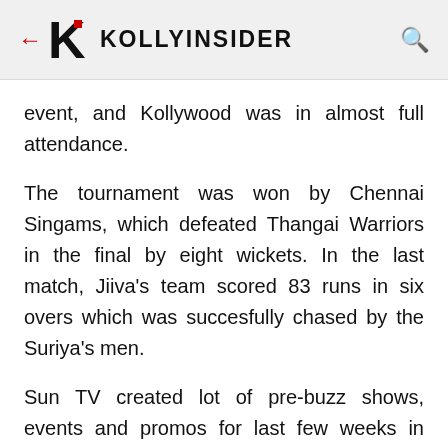KOLLYINSIDER
event, and Kollywood was in almost full attendance.
The tournament was won by Chennai Singams, which defeated Thangai Warriors in the final by eight wickets. In the last match, Jiiva's team scored 83 runs in six overs which was succesfully chased by the Suriya's men.
Sun TV created lot of pre-buzz shows, events and promos for last few weeks in effort to support the cause. Sun TV that aired the event live on the channel came forward and donated Rs 1, 75, 00, 000 to the South